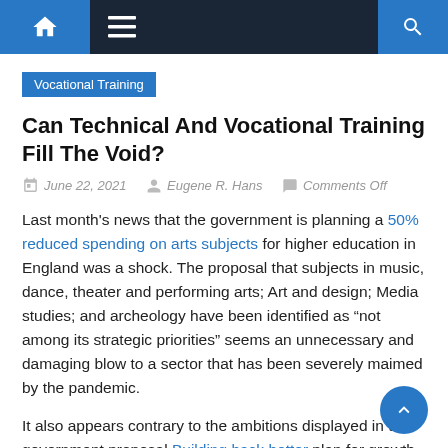Navigation bar with home icon, menu icon, and search icon
Vocational Training
Can Technical And Vocational Training Fill The Void?
June 22, 2021  Eugene R. Hans  Comments Off
Last month's news that the government is planning a 50% reduced spending on arts subjects for higher education in England was a shock. The proposal that subjects in music, dance, theater and performing arts; Art and design; Media studies; and archeology have been identified as "not among its strategic priorities" seems an unnecessary and damaging blow to a sector that has been severely maimed by the pandemic.
It also appears contrary to the ambitions displayed in the government proposal Building back better plan for growth,